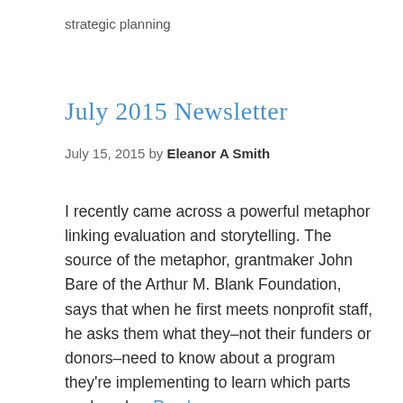strategic planning
July 2015 Newsletter
July 15, 2015 by Eleanor A Smith
I recently came across a powerful metaphor linking evaluation and storytelling. The source of the metaphor, grantmaker John Bare of the Arthur M. Blank Foundation, says that when he first meets nonprofit staff, he asks them what they–not their funders or donors–need to know about a program they're implementing to learn which parts work and … Read more